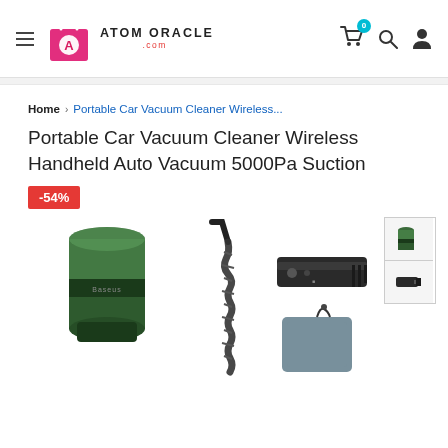Atom Oracle .com — Navigation header with hamburger menu, logo, cart (0 items), search, and user icons
Home › Portable Car Vacuum Cleaner Wireless...
Portable Car Vacuum Cleaner Wireless Handheld Auto Vacuum 5000Pa Suction
-54%
[Figure (photo): Portable car vacuum cleaner set showing: a green cylindrical vacuum (Baseus brand), a flexible hose with nozzle attachment, a black brush/crevice tool head, and a gray carrying pouch on white background. Two thumbnail images on the right side.]